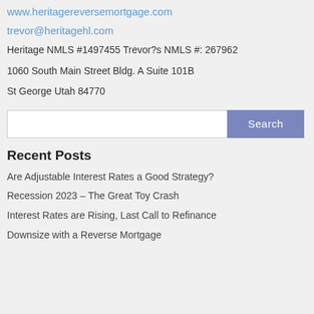www.heritagereversemortgage.com
trevor@heritagehl.com
Heritage NMLS #1497455 Trevor?s NMLS #: 267962
1060 South Main Street Bldg. A Suite 101B
St George Utah 84770
[Figure (other): Search input box with Search button]
Recent Posts
Are Adjustable Interest Rates a Good Strategy?
Recession 2023 – The Great Toy Crash
Interest Rates are Rising, Last Call to Refinance
Downsize with a Reverse Mortgage